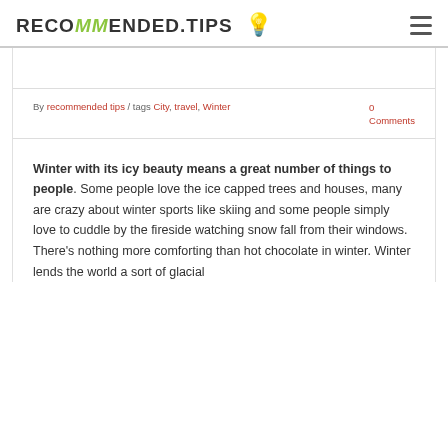RECOMMENDED.TIPS
By recommended tips / tags City, travel, Winter   0 Comments
Winter with its icy beauty means a great number of things to people. Some people love the ice capped trees and houses, many are crazy about winter sports like skiing and some people simply love to cuddle by the fireside watching snow fall from their windows. There's nothing more comforting than hot chocolate in winter. Winter lends the world a sort of glacial